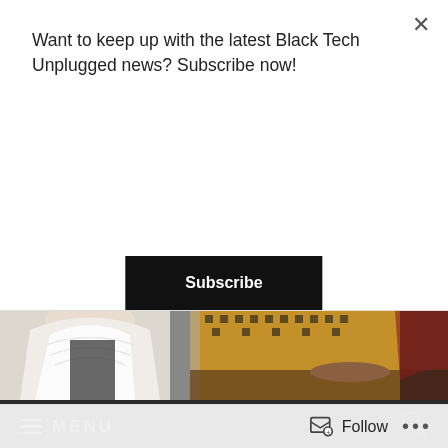Want to keep up with the latest Black Tech Unplugged news? Subscribe now!
×
Subscribe
[Figure (photo): Cropped photo showing people seated at a table, including a person in a white lace top and another in a gold/black patterned top]
≡ MENU
Ep. 045: BTU at SXSW
Follow
···